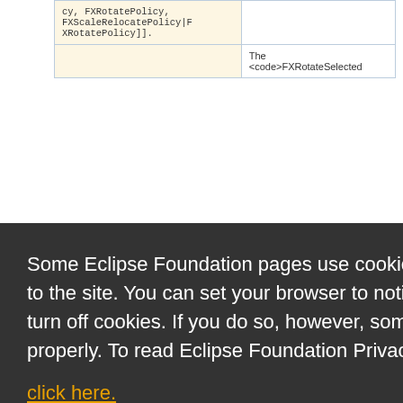| Code | Description |
| --- | --- |
| cy, FXRotatePolicy, FXScaleRelocatePolicy|FXRotatePolicy]]. |  |
|  | The <code>FXRotateSelected |
Some Eclipse Foundation pages use cookies to better serve you when you return to the site. You can set your browser to notify you before you receive a cookie or turn off cookies. If you do so, however, some areas of some sites may not function properly. To read Eclipse Foundation Privacy Policy click here.
Decline
Allow cookies